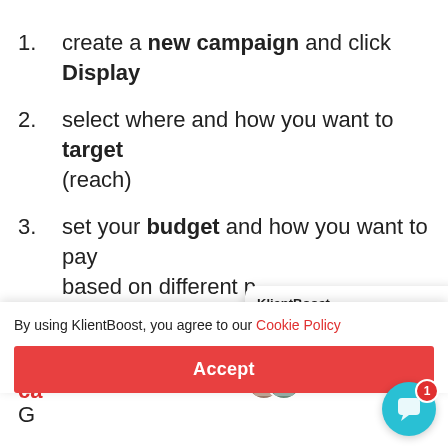create a new campaign and click Display
select where and how you want to target (reach)
set your budget and how you want to pay based on different p... (PPC, etc.)
Th
ca
G
[Figure (screenshot): KlientBoost chat popup with avatar circles and message 'Hey there, we're seeing some marketing...']
By using KlientBoost, you agree to our Cookie Policy
Accept